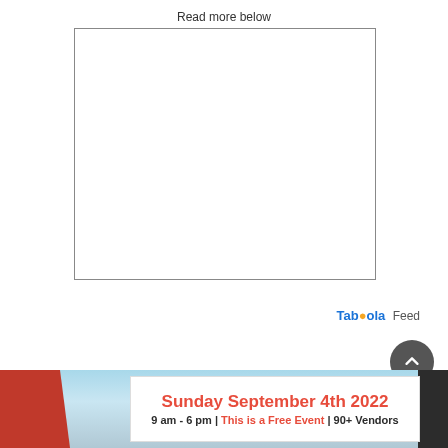Read more below
[Figure (other): Empty white advertisement placeholder box with a thin border]
Taboola Feed
[Figure (other): Taboola feed advertisement banner showing 'Sunday September 4th 2022 | 9 am - 6 pm | This is a Free Event | 90+ Vendors' with a red and white color scheme and decorative food/market imagery]